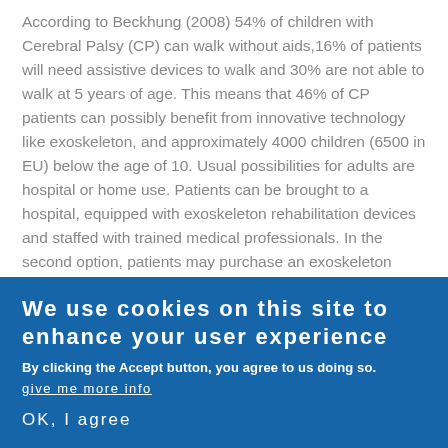According to Beckhung (2008) 54% of children with Cerebral Palsy (CP) can walk without aids,16% of patients will need assistive devices to walk and 30% are not able to walk at 5 years of age. This means that 46% of CP patients can possibly benefit from innovative technology like exoskeleton, and approximately 4000 children (6500 in EU) below the age of 10. Usual possibilities for adults are hospital or home use. Patients can be brought to a hospital, equipped with exoskeleton rehabilitation devices and staffed with trained medical professionals. In the second option, patients may purchase an exoskeleton device for home use. The patient and the primary caregivers must be trained in the proper
We use cookies on this site to enhance your user experience
By clicking the Accept button, you agree to us doing so.
give me more info
OK, I agree